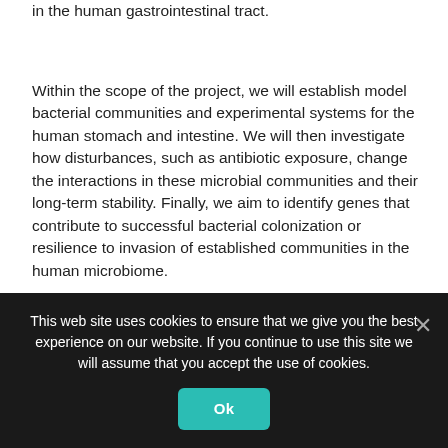in the human gastrointestinal tract.
Within the scope of the project, we will establish model bacterial communities and experimental systems for the human stomach and intestine. We will then investigate how disturbances, such as antibiotic exposure, change the interactions in these microbial communities and their long-term stability. Finally, we aim to identify genes that contribute to successful bacterial colonization or resilience to invasion of established communities in the human microbiome.
Aside from myself, Prof. Sara Lindén and Dr. Kaisa Thorell from the University of Gothenburg as well as Prof. Ed Moore at the university's Culture Collection will be involved in this project in different ways. We will also collaborate with my
This web site uses cookies to ensure that we give you the best experience on our website. If you continue to use this site we will assume that you accept the use of cookies.
Ok